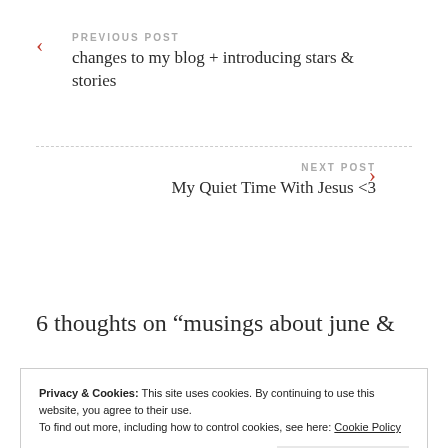PREVIOUS POST
changes to my blog + introducing stars & stories
NEXT POST
My Quiet Time With Jesus <3
6 thoughts on “musings about june &
Privacy & Cookies: This site uses cookies. By continuing to use this website, you agree to their use.
To find out more, including how to control cookies, see here: Cookie Policy
Close and accept